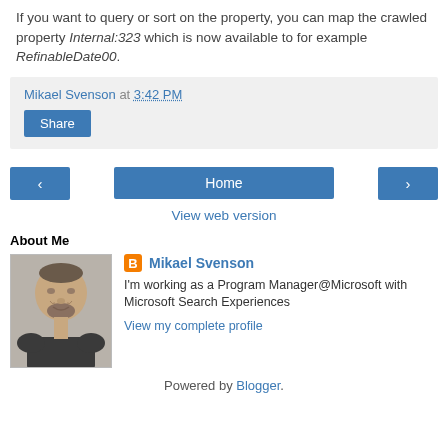If you want to query or sort on the property, you can map the crawled property Internal:323 which is now available to for example RefinableDate00.
Mikael Svenson at 3:42 PM
Share
< Home >
View web version
About Me
[Figure (photo): Profile photo of Mikael Svenson]
Mikael Svenson
I'm working as a Program Manager@Microsoft with Microsoft Search Experiences
View my complete profile
Powered by Blogger.